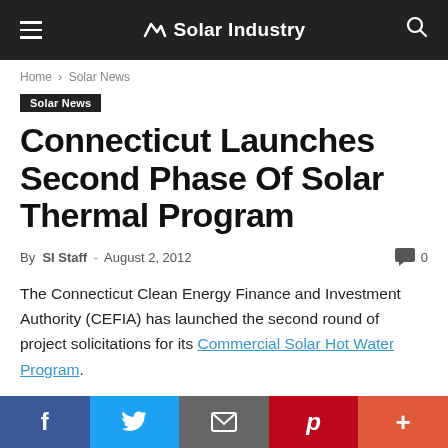Solar Industry
Home › Solar News
Solar News
Connecticut Launches Second Phase Of Solar Thermal Program
By SI Staff - August 2, 2012
The Connecticut Clean Energy Finance and Investment Authority (CEFIA) has launched the second round of project solicitations for its Commercial Solar Hot Water Program.
The program, which has a budget of $2 million, will support